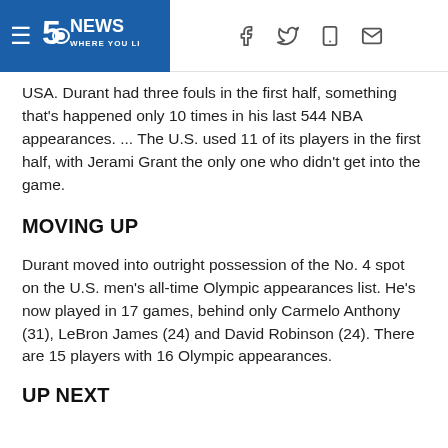5 NEWS WHERE YOU LIVE
USA. Durant had three fouls in the first half, something that's happened only 10 times in his last 544 NBA appearances. ... The U.S. used 11 of its players in the first half, with Jerami Grant the only one who didn't get into the game.
MOVING UP
Durant moved into outright possession of the No. 4 spot on the U.S. men's all-time Olympic appearances list. He's now played in 17 games, behind only Carmelo Anthony (31), LeBron James (24) and David Robinson (24). There are 15 players with 16 Olympic appearances.
UP NEXT